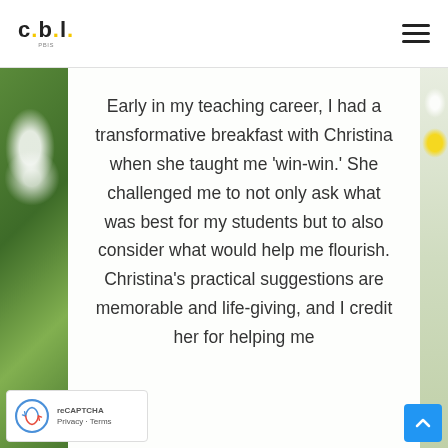c.b.l.
Early in my teaching career, I had a transformative breakfast with Christina when she taught me 'win-win.' She challenged me to not only ask what was best for my students but to also consider what would help me flourish. Christina's practical suggestions are memorable and life-giving, and I credit her for helping me
[Figure (photo): Background photo of white flowers and green plant leaves with yellow flowers visible on the right side]
Privacy · Terms